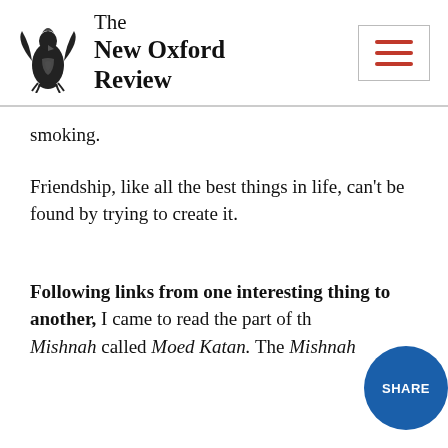The New Oxford Review
smoking.
Friendship, like all the best things in life, can't be found by trying to create it.
Following links from one interesting thing to another, I came to read the part of the Mishnah called Moed Katan. The Mishnah